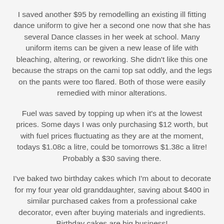I saved another $95 by remodelling an existing ill fitting dance uniform to give her a second one now that she has several Dance classes in her week at school. Many uniform items can be given a new lease of life with bleaching, altering, or reworking. She didn't like this one because the straps on the cami top sat oddly, and the legs on the pants were too flared. Both of those were easily remedied with minor alterations.
Fuel was saved by topping up when it's at the lowest prices. Some days I was only purchasing $12 worth, but with fuel prices fluctuating as they are at the moment, todays $1.08c a litre, could be tomorrows $1.38c a litre! Probably a $30 saving there.
I've baked two birthday cakes which I'm about to decorate for my four year old granddaughter, saving about $400 in similar purchased cakes from a professional cake decorator, even after buying materials and ingredients. Birthday cakes are big business!